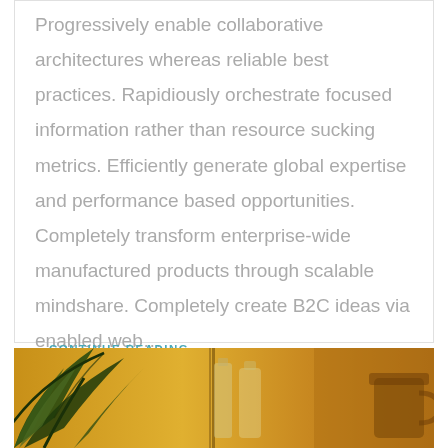Progressively enable collaborative architectures whereas reliable best practices. Rapidiously orchestrate focused information rather than resource sucking metrics. Efficiently generate global expertise and performance based opportunities. Completely transform enterprise-wide manufactured products through scalable mindshare. Completely create B2C ideas via enabled web…
CONTINUE READING…
[Figure (photo): Photo strip showing green plant leaves/stems against an amber/golden orange background with glass bottles visible]